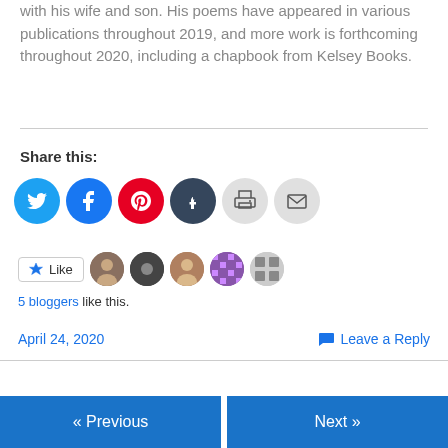with his wife and son. His poems have appeared in various publications throughout 2019, and more work is forthcoming throughout 2020, including a chapbook from Kelsey Books.
Share this:
[Figure (infographic): Social sharing icons: Twitter (blue), Facebook (blue), Pinterest (red), Tumblr (dark), Print (light gray), Email (light gray)]
[Figure (infographic): Like button with star icon and 5 blogger avatars shown]
5 bloggers like this.
April 24, 2020 | Leave a Reply
« Previous | Next »